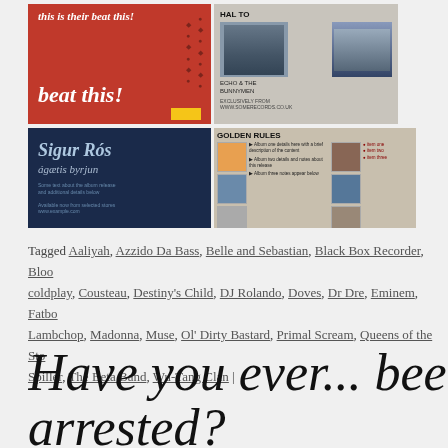[Figure (photo): Collage of music-related images: red 'Beat This!' promotional poster with footprints, Echo & the Bunnymen album advert, Sigur Rós ágætis byrjun album art on dark blue background, and a 'Golden Rules' music chart/infographic spread]
Tagged Aaliyah, Azzido Da Bass, Belle and Sebastian, Black Box Recorder, Bloo coldplay, Cousteau, Destiny's Child, DJ Rolando, Doves, Dr Dre, Eminem, Fatbo Lambchop, Madonna, Muse, Ol' Dirty Bastard, Primal Scream, Queens of the Sto Spiller, The Beta Band, Wu-Tang Clan |
Have you ever... been arrested?